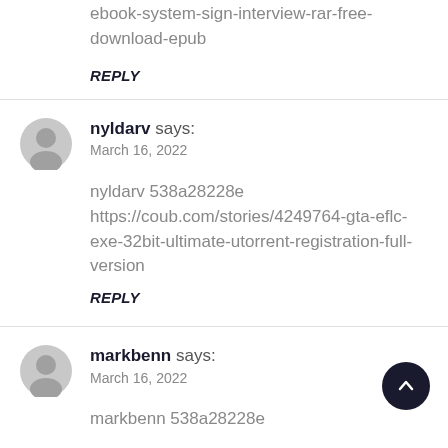ebook-system-sign-interview-rar-free-download-epub
REPLY
nyldarv says:
March 16, 2022
nyldarv 538a28228e https://coub.com/stories/4249764-gta-eflc-exe-32bit-ultimate-utorrent-registration-full-version
REPLY
markbenn says:
March 16, 2022
markbenn 538a28228e